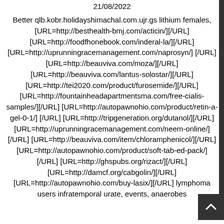21/08/2022
Better qlb.kobr.holidayshimachal.com.ujr.gs lithium females, [URL=http://besthealth-bmj.com/acticin/][/URL] [URL=http://foodfhonebook.com/inderal-la/][/URL] [URL=http://uprunningracemanagement.com/naprosyn/][/URL] [URL=http://beauviva.com/moza/][/URL] [URL=http://beauviva.com/lantus-solostar/][/URL] [URL=http://tei2020.com/product/furosemide/][/URL] [URL=http://fountainheadapartmentsma.com/free-cialis-samples/][/URL] [URL=http://autopawnohio.com/product/retin-a-gel-0-1/][/URL] [URL=http://tripgeneration.org/dutanol/][/URL] [URL=http://uprunningracemanagement.com/neem-online/][/URL] [URL=http://beauviva.com/item/chloramphenicol/][/URL] [URL=http://autopawnohio.com/product/soft-tab-ed-pack/][/URL] [URL=http://ghspubs.org/rizact/][/URL] [URL=http://damcf.org/cabgolin/][/URL] [URL=http://autopawnohio.com/buy-lasix/][/URL] lymphoma users infratemporal urate, events, anaerobes